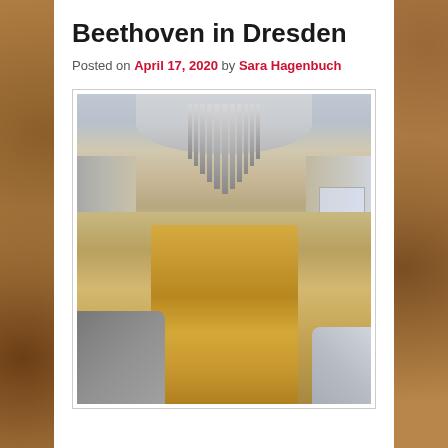Beethoven in Dresden
Posted on April 17, 2020 by Sara Hagenbuch
[Figure (photo): Interior photograph of a baroque church showing an ornate pipe organ with gold decorations, white stone arches, balconies and ornamental altar, likely the Frauenkirche in Dresden.]